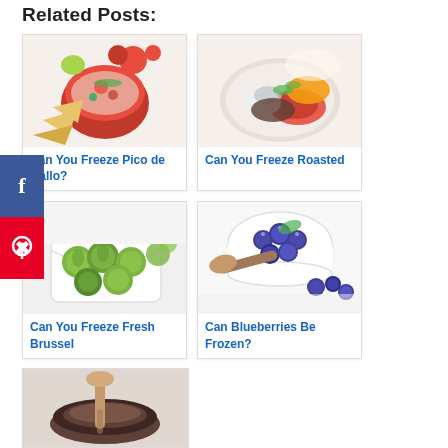Related Posts:
[Figure (photo): Food photo: nachos and salsa in a red bowl with tomatoes]
Can You Freeze Pico de Gallo?
[Figure (photo): Food photo: roasted vegetables on a white plate]
Can You Freeze Roasted
[Figure (photo): Food photo: fresh brussels sprouts in a white bowl]
Can You Freeze Fresh Brussel
[Figure (photo): Food photo: blueberries in a white bowl with some on a wooden spoon]
Can Blueberries Be Frozen?
[Figure (photo): Food photo: wooden spoon with chocolate or sauce in a pan]